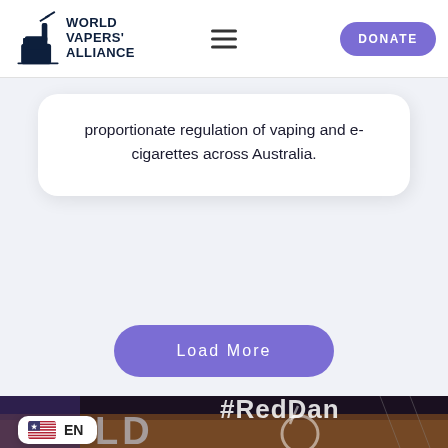[Figure (logo): World Vapers Alliance logo with fist holding a vape device and bold text]
proportionate regulation of vaping and e-cigarettes across Australia.
Load More
[Figure (photo): Nighttime photo of building with #RedDan projection and World Vapers Alliance logo projected on facade]
EN